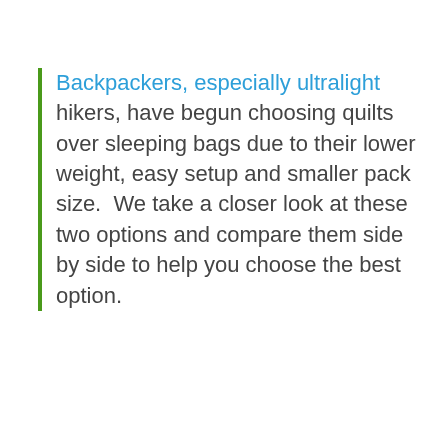Backpackers, especially ultralight hikers, have begun choosing quilts over sleeping bags due to their lower weight, easy setup and smaller pack size.  We take a closer look at these two options and compare them side by side to help you choose the best option.